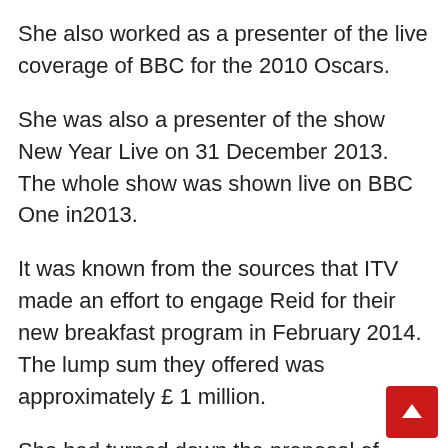She also worked as a presenter of the live coverage of BBC for the 2010 Oscars.
She was also a presenter of the show New Year Live on 31 December 2013. The whole show was shown live on BBC One in2013.
It was known from the sources that ITV made an effort to engage Reid for their new breakfast program in February 2014. The lump sum they offered was approximately £ 1 million.
She had turned down the proposal of joining ITV at the time of her show Strictly Come Dancing.
On 3 March 2014 BBC made its way to ITV to face the rival breakfast program Good Morning